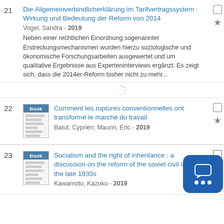21 Die Allgemeinverbindlicherklärung im Tarifvertragssystem : Wirkung und Bedeutung der Reform von 2014
Vogel, Sandra - 2019
Neben einer rechtlichen Einordnung sogenannter Erstreckungsmechanismen wurden hierzu soziologische und ökonomische Forschungsarbeiten ausgewertet und um qualitative Ergebnisse aus Experteninterviews ergänzt. Es zeigt sich, dass die 2014er-Reform bisher nicht zu mehr...
22 Comment les ruptures conventionnelles ont transformé le marché du travail
Batut, Cyprien; Maurin, Eric - 2019
23 Socialism and the right of inheritance : a discussion on the reform of the soviet civil law in the late 1930s
Kawamoto, Kazuko - 2019